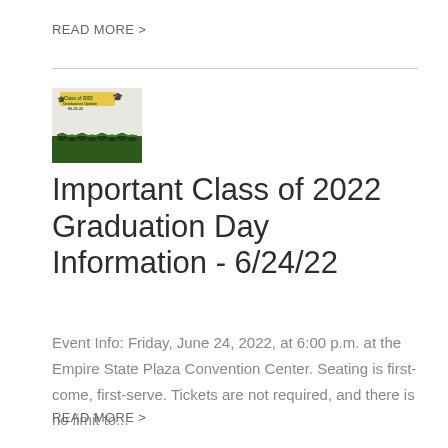READ MORE >
[Figure (photo): Thumbnail image of Class of 2022 Graduation Update 06-22-22 with graduates in caps and gowns]
Important Class of 2022 Graduation Day Information - 6/24/22
Event Info: Friday, June 24, 2022, at 6:00 p.m. at the Empire State Plaza Convention Center. Seating is first-come, first-serve. Tickets are not required, and there is no limit to...
READ MORE >